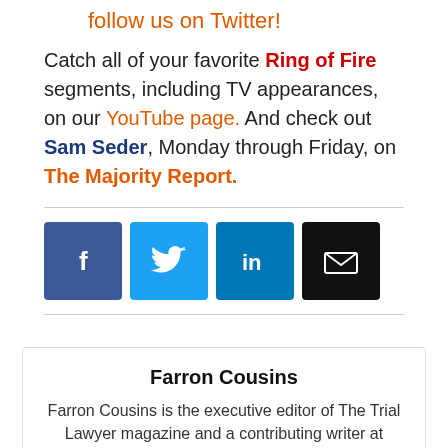follow us on Twitter!
Catch all of your favorite Ring of Fire segments, including TV appearances, on our YouTube page. And check out Sam Seder, Monday through Friday, on The Majority Report.
[Figure (infographic): Social media share buttons: Facebook (blue), Twitter (light blue), LinkedIn (dark blue), Email (black)]
Farron Cousins
Farron Cousins is the executive editor of The Trial Lawyer magazine and a contributing writer at